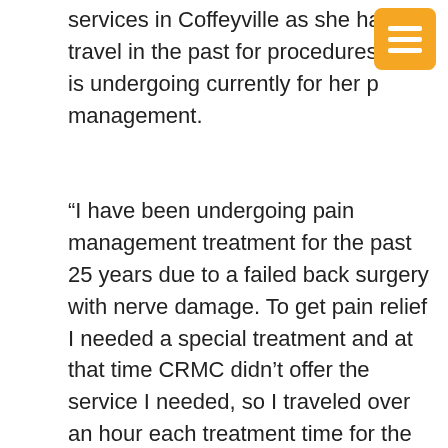services in Coffeyville as she had to travel in the past for procedures she is undergoing currently for her p management.
“I have been undergoing pain management treatment for the past 25 years due to a failed back surgery with nerve damage. To get pain relief I needed a special treatment and at that time CRMC didn’t offer the service I needed, so I traveled over an hour each treatment time for the past 10 years or so. I am very pleased now that I can receive my pain management treatment in my hometown of Coffeyville. I really enjoy working with and seeing Christy McCullough, Dr. Gutschenritter and staff when I receive my treatment. All my treatments have had zero wait time, the Doctor was very thorough and I was in and out in know time. If